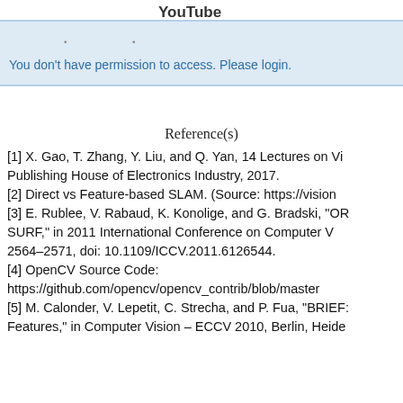YouTube
You don't have permission to access. Please login.
Reference(s)
[1] X. Gao, T. Zhang, Y. Liu, and Q. Yan, 14 Lectures on Visual SLAM, Publishing House of Electronics Industry, 2017.
[2] Direct vs Feature-based SLAM. (Source: https://vision...)
[3] E. Rublee, V. Rabaud, K. Konolige, and G. Bradski, "ORB: An efficient alternative to SIFT or SURF," in 2011 International Conference on Computer Vision, pp. 2564–2571, doi: 10.1109/ICCV.2011.6126544.
[4] OpenCV Source Code: https://github.com/opencv/opencv_contrib/blob/master/...
[5] M. Calonder, V. Lepetit, C. Strecha, and P. Fua, "BRIEF: Binary Robust Independent Elementary Features," in Computer Vision – ECCV 2010, Berlin, Heidelberg...